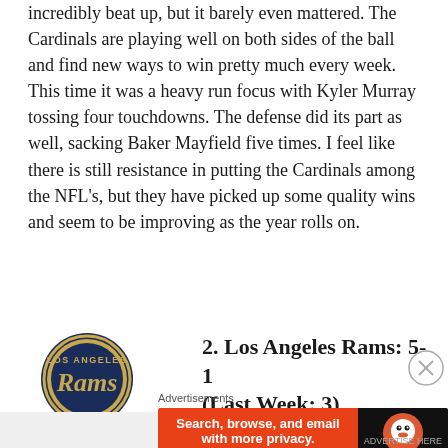incredibly beat up, but it barely even mattered. The Cardinals are playing well on both sides of the ball and find new ways to win pretty much every week. This time it was a heavy run focus with Kyler Murray tossing four touchdowns. The defense did its part as well, sacking Baker Mayfield five times. I feel like there is still resistance in putting the Cardinals among the NFL's, but they have picked up some quality wins and seem to be improving as the year rolls on.
[Figure (logo): Los Angeles Rams logo — circular navy blue and gold team logo with 'LOS ANGELES' and 'Rams' text]
2. Los Angeles Rams: 5-1 (Last Week: 3)
Advertisements
[Figure (other): DuckDuckGo advertisement banner — orange background with text 'Search, browse, and email with more privacy. All in One Free App' and DuckDuckGo logo on dark right panel]